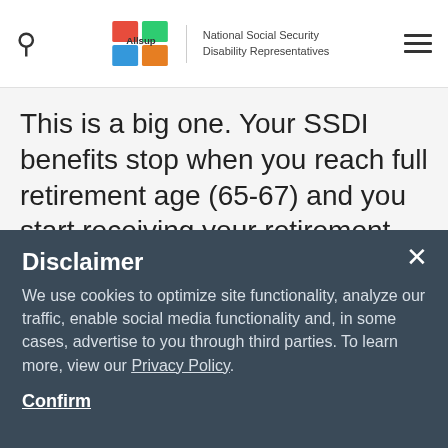Allsup | National Social Security Disability Representatives
This is a big one. Your SSDI benefits stop when you reach full retirement age (65-67) and you start receiving your retirement benefits. When you receive approval for SSDI, then Social Security freezes your earnings record. Those zero-earning years aren't used in the calculation of your monthly retirement benefits...
Disclaimer
We use cookies to optimize site functionality, analyze our traffic, enable social media functionality and, in some cases, advertise to you through third parties. To learn more, view our Privacy Policy.
Confirm